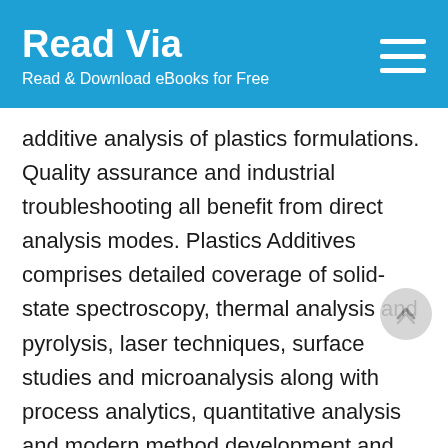Read Via
Read & Download eBooks for Free
additive analysis of plastics formulations. Quality assurance and industrial troubleshooting all benefit from direct analysis modes. Plastics Additives comprises detailed coverage of solid-state spectroscopy, thermal analysis and pyrolysis, laser techniques, surface studies and microanalysis along with process analytics, quantitative analysis and modern method development and validation applied to additives in polymers. The book is organised for quick and easy reference and is extensively illustrated with over 200 figures, 300 flow diagrams and tables to facilitate rapid understanding of this topic, and it contains 4000 references. Emphasis is on understanding (principles and characteristics) and industrial